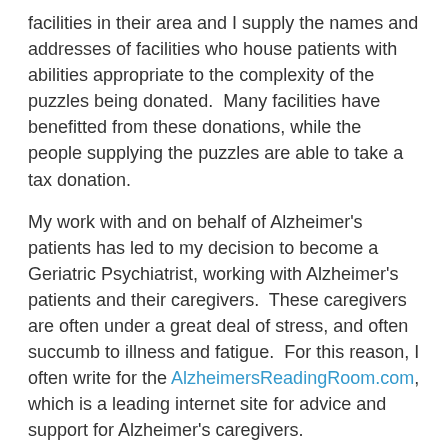facilities in their area and I supply the names and addresses of facilities who house patients with abilities appropriate to the complexity of the puzzles being donated.  Many facilities have benefitted from these donations, while the people supplying the puzzles are able to take a tax donation.
My work with and on behalf of Alzheimer's patients has led to my decision to become a Geriatric Psychiatrist, working with Alzheimer's patients and their caregivers.  These caregivers are often under a great deal of stress, and often succumb to illness and fatigue.  For this reason, I often write for the AlzheimersReadingRoom.com, which is a leading internet site for advice and support for Alzheimer's caregivers.
I have also been invited to become a member of the American Association for Geriatric Psychiatry, and I attended their conference last spring, where I learned a great deal.  I am happy to be able to say that there are some wonderful, compassionate, geriatric physicians, and many more in the pipeline.  That is very important for our aging population and impending Alzheimer's epidemic.